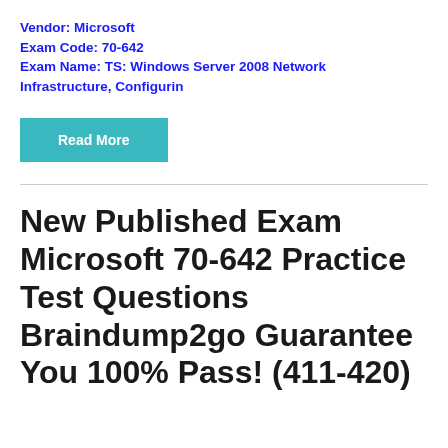Vendor: Microsoft
Exam Code: 70-642
Exam Name: TS: Windows Server 2008 Network Infrastructure, Configurin
[Figure (other): Teal 'Read More' button]
New Published Exam Microsoft 70-642 Practice Test Questions Braindump2go Guarantee You 100% Pass! (411-420)